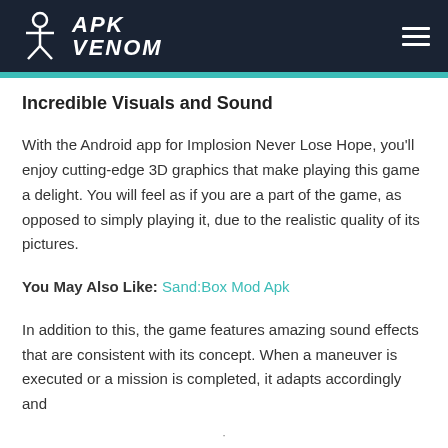APK VENOM
Incredible Visuals and Sound
With the Android app for Implosion Never Lose Hope, you'll enjoy cutting-edge 3D graphics that make playing this game a delight. You will feel as if you are a part of the game, as opposed to simply playing it, due to the realistic quality of its pictures.
You May Also Like: Sand:Box Mod Apk
In addition to this, the game features amazing sound effects that are consistent with its concept. When a maneuver is executed or a mission is completed, it adapts accordingly and